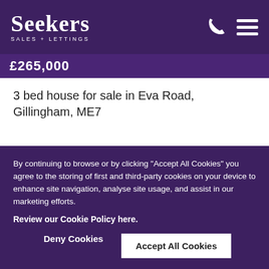Seekers SALES + LETTINGS
£265,000
3 bed house for sale in Eva Road, Gillingham, ME7
This property is a delight! A super 3 bedroom family home situated...
By continuing to browse or by clicking “Accept All Cookies” you agree to the storing of first and third-party cookies on your device to enhance site navigation, analyse site usage, and assist in our marketing efforts.
Review our Cookie Policy here.
Deny Cookies
Accept All Cookies